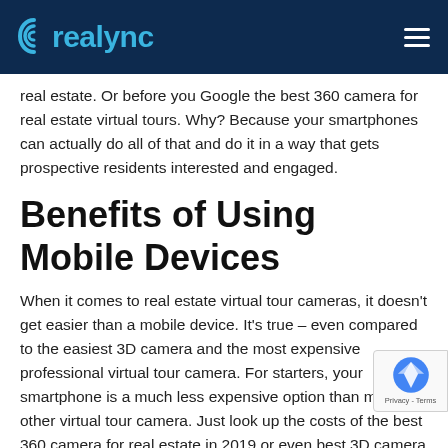realync
real estate. Or before you Google the best 360 camera for real estate virtual tours. Why? Because your smartphones can actually do all of that and do it in a way that gets prospective residents interested and engaged.
Benefits of Using Mobile Devices
When it comes to real estate virtual tour cameras, it doesn't get easier than a mobile device. It's true – even compared to the easiest 3D camera and the most expensive professional virtual tour camera. For starters, your smartphone is a much less expensive option than most any other virtual tour camera. Just look up the costs of the best 360 camera for real estate in 2019 or even best 3D camera for real estate 2020.